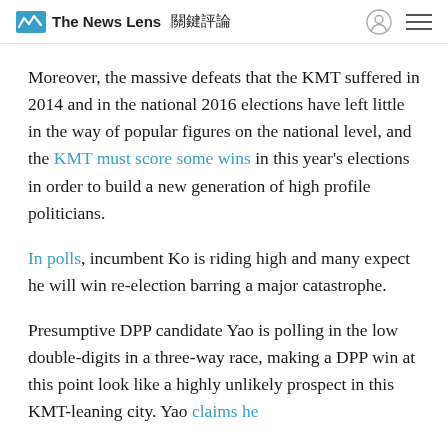The News Lens 關鍵評論
Moreover, the massive defeats that the KMT suffered in 2014 and in the national 2016 elections have left little in the way of popular figures on the national level, and the KMT must score some wins in this year's elections in order to build a new generation of high profile politicians.
In polls, incumbent Ko is riding high and many expect he will win re-election barring a major catastrophe.
Presumptive DPP candidate Yao is polling in the low double-digits in a three-way race, making a DPP win at this point look like a highly unlikely prospect in this KMT-leaning city. Yao claims he